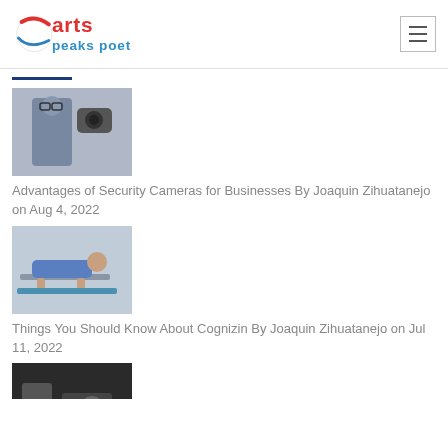arts peaks poet
[Figure (photo): Man in glasses holding a small security camera, with a smartphone in his other hand]
Advantages of Security Cameras for Businesses By Joaquin Zihuatanejo on Aug 4, 2022
[Figure (photo): Person doing a push-up on a mat in athletic wear]
Things You Should Know About Cognizin By Joaquin Zihuatanejo on Jul 11, 2022
[Figure (photo): Close-up of mechanical or industrial equipment, partially visible]